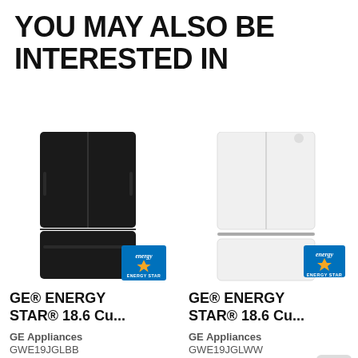YOU MAY ALSO BE INTERESTED IN
[Figure (photo): Black GE french door refrigerator with Energy Star badge]
GE® ENERGY STAR® 18.6 Cu...
GE Appliances
GWE19JGLBB
4.3 stars rating
Our Price
[Figure (photo): White GE french door refrigerator with Energy Star badge]
GE® ENERGY STAR® 18.6 Cu...
GE Appliances
GWE19JGLWW
4.2 stars rating
Our Price